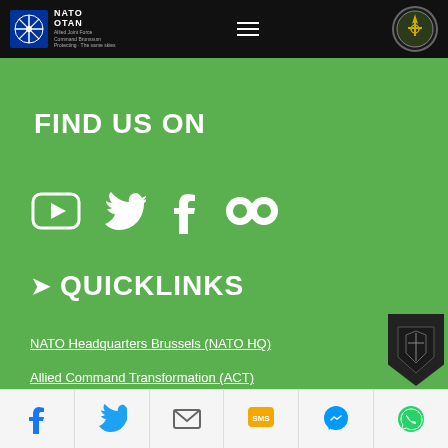NATO OTAN - Allied Joint Force Command Brunssum
FIND US ON
[Figure (infographic): Social media icons: YouTube, Twitter, Facebook, Flickr]
QUICKLINKS
NATO Headquarters Brussels (NATO HQ)
Allied Command Transformation (ACT)
[Figure (infographic): Social sharing bar with Facebook, Twitter, Email, SMS, Messenger, WhatsApp icons]